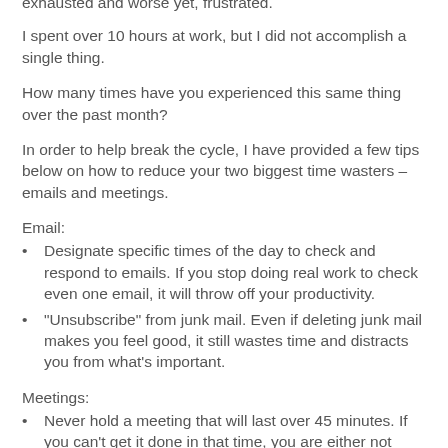exhausted and worse yet, frustrated.
I spent over 10 hours at work, but I did not accomplish a single thing.
How many times have you experienced this same thing over the past month?
In order to help break the cycle, I have provided a few tips below on how to reduce your two biggest time wasters – emails and meetings.
Email:
Designate specific times of the day to check and respond to emails. If you stop doing real work to check even one email, it will throw off your productivity.
"Unsubscribe" from junk mail. Even if deleting junk mail makes you feel good, it still wastes time and distracts you from what's important.
Meetings:
Never hold a meeting that will last over 45 minutes. If you can't get it done in that time, you are either not prepared or